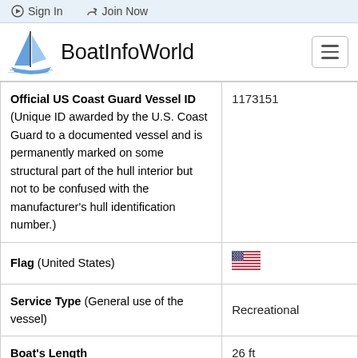Sign In  Join Now
[Figure (logo): BoatInfoWorld logo with sailboat icon and text]
| Field | Value |
| --- | --- |
| Official US Coast Guard Vessel ID (Unique ID awarded by the U.S. Coast Guard to a documented vessel and is permanently marked on some structural part of the hull interior but not to be confused with the manufacturer's hull identification number.) | 1173151 |
| Flag (United States) | [US Flag] |
| Service Type (General use of the vessel) | Recreational |
| Boat's Length | 26 ft |
| Boat's Gross Tons | 9 |
| Boat's Net Tons | 7 |
| Vessel Build Year | 2005 |